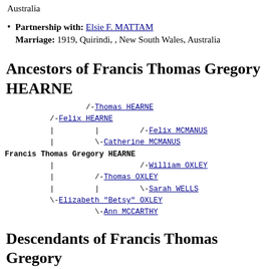Australia
Partnership with: Elsie F. MATTAM Marriage: 1919, Quirindi, , New South Wales, Australia
Ancestors of Francis Thomas Gregory HEARNE
[Figure (other): Genealogical ancestor tree in monospace text format showing ancestors of Francis Thomas Gregory HEARNE including Thomas HEARNE, Felix HEARNE, Felix MCMANUS, Catherine MCMANUS, William OXLEY, Thomas OXLEY, Sarah WELLS, Elizabeth Betsy OXLEY, Ann MCCARTHY]
Descendants of Francis Thomas Gregory